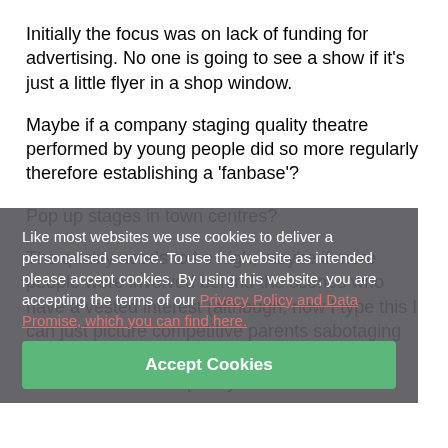Initially the focus was on lack of funding for advertising. No one is going to see a show if it's just a little flyer in a shop window.
Maybe if a company staging quality theatre performed by young people did so more regularly therefore establishing a ‘fanbase’?
Pop up stages in town centres?
The quality needs to be high, maybe if more people were involved behind the scenes who have a vested interest (although, now I type this I can just picture competitive parents sabotaging other kids costumes).
Like most websites we use cookies to deliver a personalised service. To use the website as intended please accept cookies. By using this website, you are accepting the terms of our Privacy Policy and Data Promise, which you can find here.
Good intentions but poorly executed.